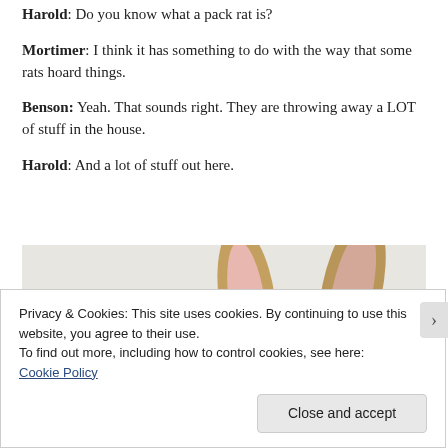Harold: Do you know what a pack rat is?
Mortimer: I think it has something to do with the way that some rats hoard things.
Benson: Yeah. That sounds right. They are throwing away a LOT of stuff in the house.
Harold: And a lot of stuff out here.
[Figure (photo): Close-up photo of a rabbit's head and long ears from above, showing brown/tan fur and pink inner ears against a light background.]
Privacy & Cookies: This site uses cookies. By continuing to use this website, you agree to their use.
To find out more, including how to control cookies, see here:
Cookie Policy